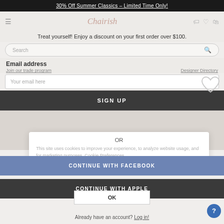30% Off Summer Classics – Limited Time Only!
[Figure (screenshot): Chairish website navigation bar with hamburger menu, logo, tag icon, heart icon, and bag icon]
Treat yourself! Enjoy a discount on your first order over $100.
Search
Email address
Join our trade program
Designer Directory
Your email here
SIGN UP
OR
This site uses cookies to improve your experience, to analyze website usage, and for marketing purposes. Cookie Preferences
CONTINUE WITH FACEBOOK
CONTINUE WITH APPLE
OK
Already have an account? Log in!